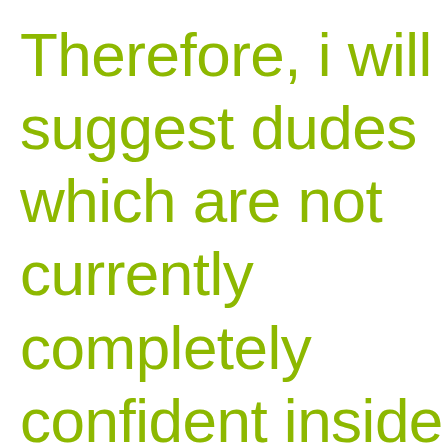Therefore, i will suggest dudes which are not currently completely confident inside the space prim th